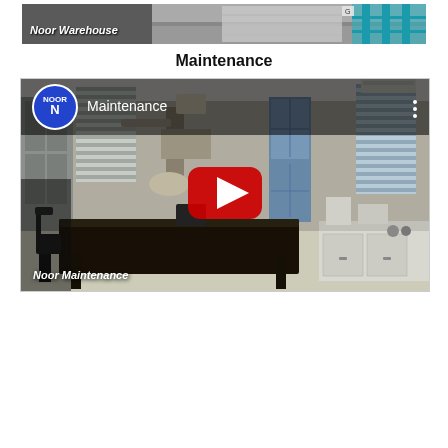[Figure (screenshot): Noor Warehouse video thumbnail showing warehouse shelving with teal metal racks, labeled 'Noor Warehouse' in italic white text]
Maintenance
[Figure (screenshot): YouTube embedded video player showing 'Maintenance' video by Noor. Thumbnail shows a laboratory/maintenance room with dark table, chairs, lockers, blue cabinets, lab equipment, and white counters. Noor logo (blue circle) shown top-left. Red YouTube play button in center. 'Noor Maintenance' label in bottom-left corner.]